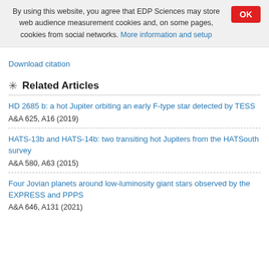By using this website, you agree that EDP Sciences may store web audience measurement cookies and, on some pages, cookies from social networks. More information and setup
Download citation
Related Articles
HD 2685 b: a hot Jupiter orbiting an early F-type star detected by TESS
A&A 625, A16 (2019)
HATS-13b and HATS-14b: two transiting hot Jupiters from the HATSouth survey
A&A 580, A63 (2015)
Four Jovian planets around low-luminosity giant stars observed by the EXPRESS and PPPS
A&A 646, A131 (2021)